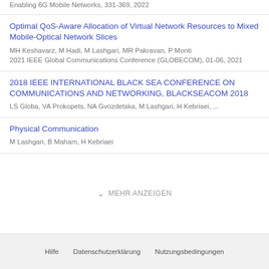Enabling 6G Mobile Networks, 331-369, 2022
Optimal QoS-Aware Allocation of Virtual Network Resources to Mixed Mobile-Optical Network Slices
MH Keshavarz, M Hadi, M Lashgari, MR Pakravan, P Monti
2021 IEEE Global Communications Conference (GLOBECOM), 01-06, 2021
2018 IEEE INTERNATIONAL BLACK SEA CONFERENCE ON COMMUNICATIONS AND NETWORKING, BLACKSEACOM 2018
LS Globa, VA Prokopets, NA Gvozdetska, M Lashgari, H Kebriaei, ...
Physical Communication
M Lashgari, B Maham, H Kebriaei
MEHR ANZEIGEN
Hilfe   Datenschutzerklärung   Nutzungsbedingungen